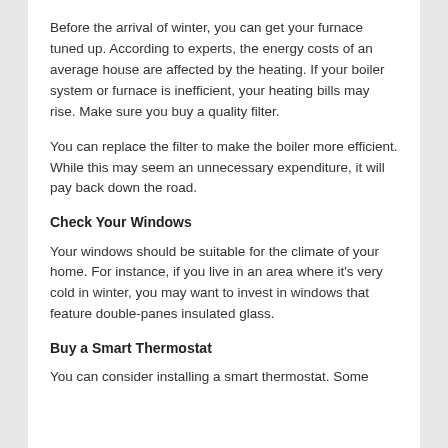Before the arrival of winter, you can get your furnace tuned up. According to experts, the energy costs of an average house are affected by the heating. If your boiler system or furnace is inefficient, your heating bills may rise. Make sure you buy a quality filter.
You can replace the filter to make the boiler more efficient. While this may seem an unnecessary expenditure, it will pay back down the road.
Check Your Windows
Your windows should be suitable for the climate of your home. For instance, if you live in an area where it's very cold in winter, you may want to invest in windows that feature double-panes insulated glass.
Buy a Smart Thermostat
You can consider installing a smart thermostat. Some